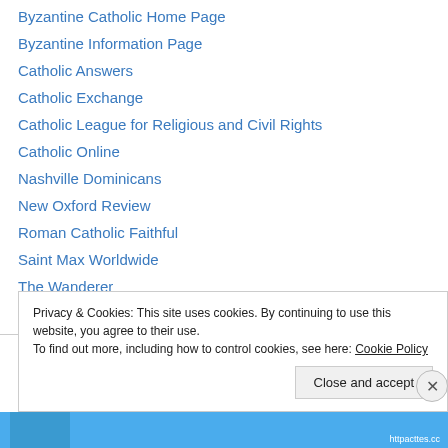Byzantine Catholic Home Page
Byzantine Information Page
Catholic Answers
Catholic Exchange
Catholic League for Religious and Civil Rights
Catholic Online
Nashville Dominicans
New Oxford Review
Roman Catholic Faithful
Saint Max Worldwide
The Wanderer
Veritas Series Catholic Education
Privacy & Cookies: This site uses cookies. By continuing to use this website, you agree to their use. To find out more, including how to control cookies, see here: Cookie Policy
Close and accept